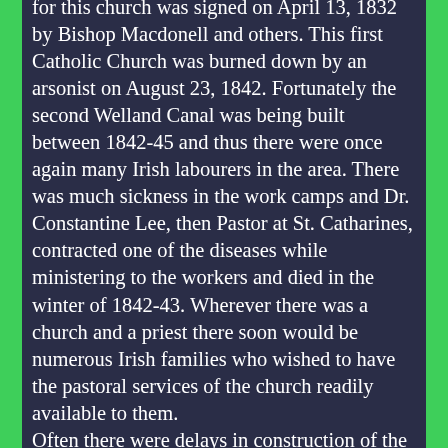for this church was signed on April 13, 1832 by Bishop Macdonell and others. This first Catholic Church was burned down by an arsonist on August 23, 1842. Fortunately the second Welland Canal was being built between 1842-45 and thus there were once again many Irish labourers in the area. There was much sickness in the work camps and Dr. Constantine Lee, then Pastor at St. Catharines, contracted one of the diseases while ministering to the workers and died in the winter of 1842-43. Wherever there was a church and a priest there soon would be numerous Irish families who wished to have the pastoral services of the church readily available to them. Often there were delays in construction of the canal and so under the guidance of their new Pastor, the Rev. Patrick McDonagh, the Irish workers used their free time to build a new parish church,